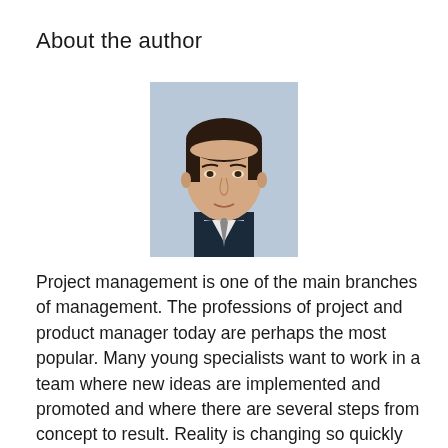About the author
[Figure (photo): Headshot photo of a man in a dark suit with short dark hair, light blue/grey background]
Project management is one of the main branches of management. The professions of project and product manager today are perhaps the most popular. Many young specialists want to work in a team where new ideas are implemented and promoted and where there are several steps from concept to result. Reality is changing so quickly that traditional project management methods – those that are broadcast in